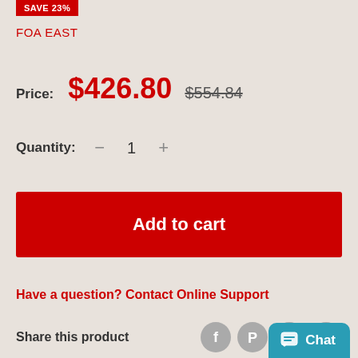SAVE 23%
FOA EAST
Price: $426.80  $554.84
Quantity: − 1 +
Add to cart
Have a question? Contact Online Support
Share this product
[Figure (screenshot): Chat button widget at bottom right]
[Figure (infographic): Social share icons: Facebook, Pinterest, Twitter, Email]